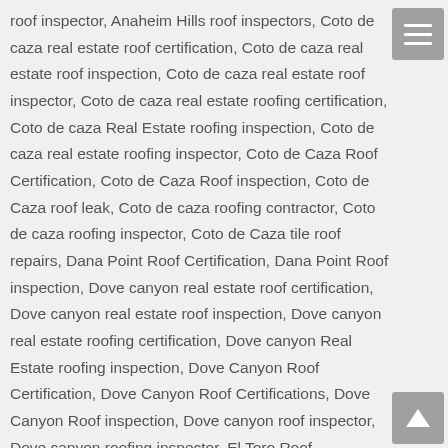roof inspector, Anaheim Hills roof inspectors, Coto de caza real estate roof certification, Coto de caza real estate roof inspection, Coto de caza real estate roof inspector, Coto de caza real estate roofing certification, Coto de caza Real Estate roofing inspection, Coto de caza real estate roofing inspector, Coto de Caza Roof Certification, Coto de Caza Roof inspection, Coto de Caza roof leak, Coto de caza roofing contractor, Coto de caza roofing inspector, Coto de Caza tile roof repairs, Dana Point Roof Certification, Dana Point Roof inspection, Dove canyon real estate roof certification, Dove canyon real estate roof inspection, Dove canyon real estate roofing certification, Dove canyon Real Estate roofing inspection, Dove Canyon Roof Certification, Dove Canyon Roof Certifications, Dove Canyon Roof inspection, Dove canyon roof inspector, Dove canyon roofing inspector, El Toro Roof inspection, Irvine real estate roof certification, Irvine real estate roof inspection, Irvine real estate roof inspector, Irvine